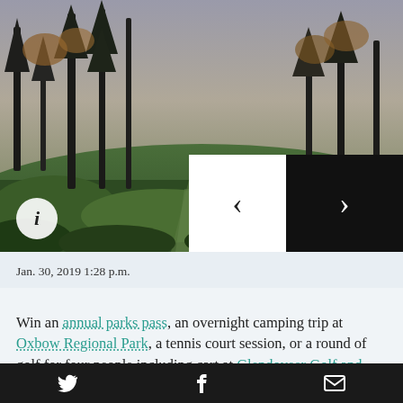[Figure (photo): Outdoor forest/park scene with trees, green undergrowth, and a path. A white info circle icon (i) is in the lower left. Navigation arrows (< and >) are in the lower right area.]
Jan. 30, 2019 1:28 p.m.
Win an annual parks pass, an overnight camping trip at Oxbow Regional Park, a tennis court session, or a round of golf for four people including cart at Glendoveer Golf and Tennis Center.
To win, enter the photo contest for Our Big Backyard.
Twitter | Facebook | Email